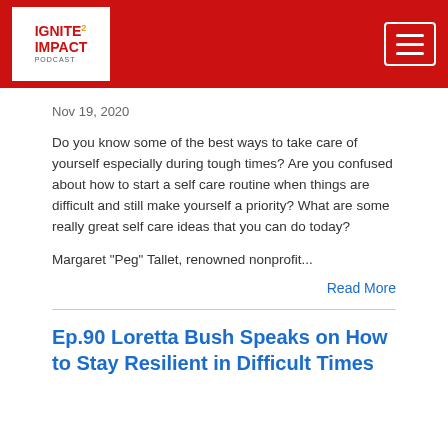IGNITE 2 IMPACT PODCAST
Nov 19, 2020
Do you know some of the best ways to take care of yourself especially during tough times? Are you confused about how to start a self care routine when things are difficult and still make yourself a priority? What are some really great self care ideas that you can do today?
Margaret "Peg" Tallet, renowned nonprofit...
Read More
Ep.90 Loretta Bush Speaks on How to Stay Resilient in Difficult Times